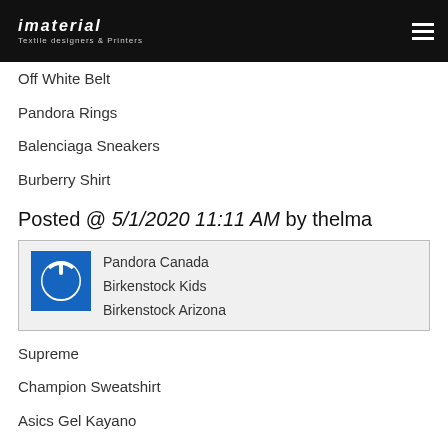imaterial — Textile designers & Printers
Off White Belt
Pandora Rings
Balenciaga Sneakers
Burberry Shirt
Posted @ 5/1/2020 11:11 AM by thelma
[Figure (logo): Blue square power button icon]
Pandora Canada
Birkenstock Kids
Birkenstock Arizona
Supreme
Champion Sweatshirt
Asics Gel Kayano
Le Coq Sportif
Champion